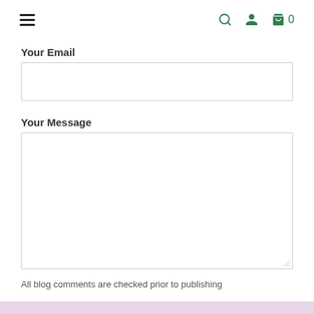navigation header with hamburger menu, search, user, and cart icons
Your Email
Your Message
All blog comments are checked prior to publishing